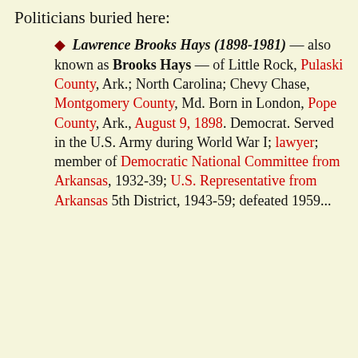Politicians buried here:
Lawrence Brooks Hays (1898-1981) — also known as Brooks Hays — of Little Rock, Pulaski County, Ark.; North Carolina; Chevy Chase, Montgomery County, Md. Born in London, Pope County, Ark., August 9, 1898. Democrat. Served in the U.S. Army during World War I; lawyer; member of Democratic National Committee from Arkansas, 1932-39; U.S. Representative from Arkansas 5th District, 1943-59; defeated 1959...